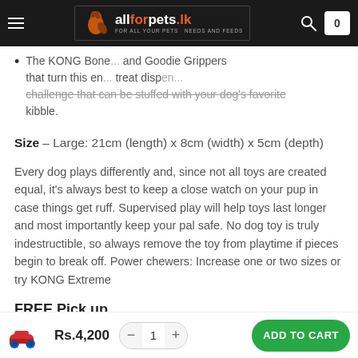allforpets.lk navigation bar with logo, search and cart icons
The KONG Bone... and Goodie Grippers that turn this en... treat dispens... challenge that can be stuffed with your dog's favorite kibble.
Size – Large: 21cm (length) x 8cm (width) x 5cm (depth)
Every dog plays differently and, since not all toys are created equal, it's always best to keep a close watch on your pup in case things get ruff. Supervised play will help toys last longer and most importantly keep your pal safe. No dog toy is truly indestructible, so always remove the toy from playtime if pieces begin to break off. Power chewers: Increase one or two sizes or try KONG Extreme
FREE Pick up
Rs.4,200  -  1  +  ADD TO CART